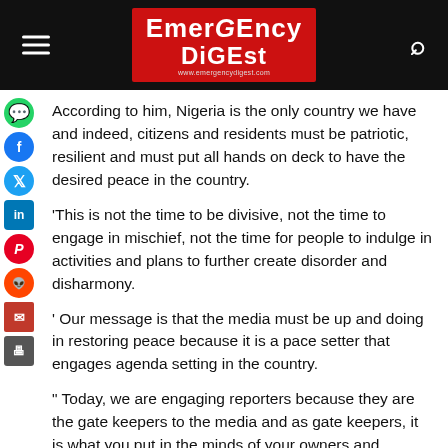Emergency Digest
According to him, Nigeria is the only country we have and indeed, citizens and residents must be patriotic, resilient and must put all hands on deck to have the desired peace in the country.
'This is not the time to be divisive, not the time to engage in mischief, not the time for people to indulge in activities and plans to further create disorder and disharmony.
' Our message is that the media must be up and doing in restoring peace because it is a pace setter that engages agenda setting in the country.
" Today, we are engaging reporters because they are the gate keepers to the media and as gate keepers, it is what you put in the minds of your owners and platforms that they release to the public.
“The media must see the country as the only nation we have and